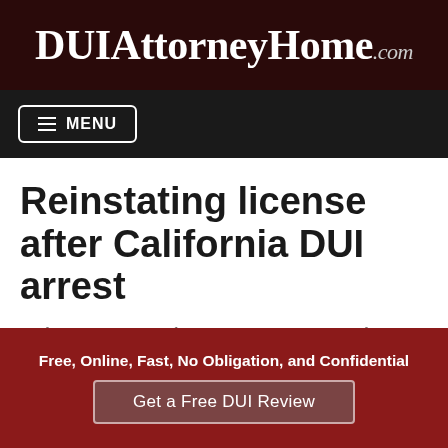DUIAttorneyHome.com
MENU
Reinstating license after California DUI arrest
California drivers arrested for driving motor vehicles in California while intoxicated will have their California driver's license confiscated by the police officer, who will then send a copy of the suspension notice to the California Department of Motor Vehicles (CA DMV) and a copy of their California DUI arrest report. The California DUI arrest
Free, Online, Fast, No Obligation, and Confidential
Get a Free DUI Review